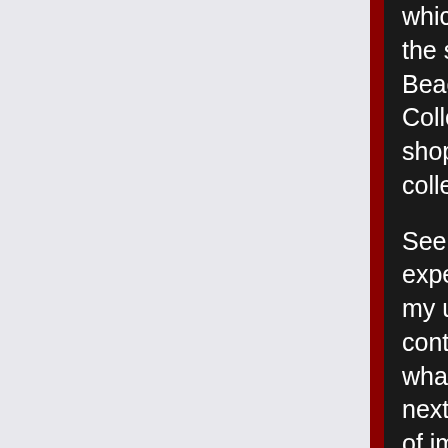which was at release 19 in 2019. I was the systems programmer at Daytona Beach Community, now Daytona State College which was then a Burroughs shop as my second multi-year job out of college ('83-'85). [1]
See the talk page for more recent experience with the system that inspires my use of the name. The IBM docker container is actually much closer to what I'm doing with DCP so unless the next release of MCP Express has a lot of improvements, MVS (as modern zOS) may replace MCP as far as first mainframe nodes are concerned unless there's no affordable path to support their current lines. In any case my concepts are under this name only as a homage, as is common